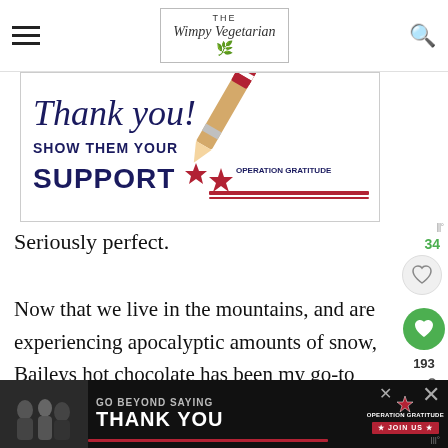THE Wimpy Vegetarian
[Figure (illustration): Advertisement banner: 'Thank you! SHOW THEM YOUR SUPPORT' with Operation Gratitude logo and pencil graphic]
Seriously perfect.
Now that we live in the mountains, and are experiencing apocalyptic amounts of snow, Baileys hot chocolate has been my go-to drink
[Figure (illustration): Bottom advertisement banner: 'GO BEYOND SAYING THANK YOU' Operation Gratitude JOIN US]